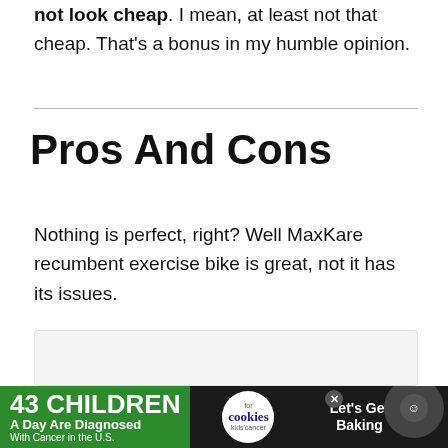not look cheap. I mean, at least not that cheap. That's a bonus in my humble opinion.
Pros And Cons
Nothing is perfect, right? Well MaxKare recumbent exercise bike is great, not it has its issues.
[Figure (other): Light grey content placeholder box]
[Figure (other): Advertisement banner: 43 Children A Day Are Diagnosed With Cancer in the U.S. — cookies for kids' cancer — Let's Get Baking]